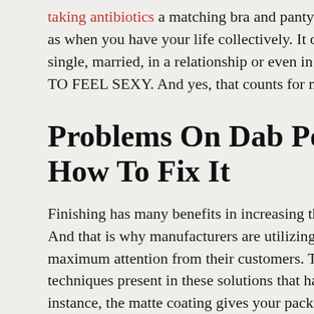taking antibiotics a matching bra and panty or thong can as when you have your life collectively. It does not matter single, married, in a relationship or even in a "situation"s TO FEEL SEXY. And yes, that counts for men as properly.
Problems On Dab Pen And W How To Fix It
Finishing has many benefits in increasing the value of pa And that is why manufacturers are utilizing them to make maximum attention from their customers. There are diffe techniques present in these solutions that have specific o instance, the matte coating gives your packaging solution reducing the hard impact of colors and illustrations that a box. Similarly, with gloss, you can enhance the visual app packages by giving them a clean and shiny surface. We ar number of these options to our customers for their packa